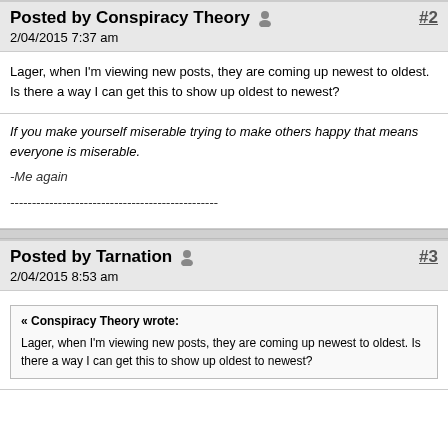Posted by Conspiracy Theory  #2
2/04/2015 7:37 am
Lager, when I'm viewing new posts, they are coming up newest to oldest.  Is there a way I can get this to show up oldest to newest?
If you make yourself miserable trying to make others happy that means everyone is miserable.

-Me again
------------------------------------------------
Posted by Tarnation  #3
2/04/2015 8:53 am
« Conspiracy Theory wrote:

Lager, when I'm viewing new posts, they are coming up newest to oldest.  Is there a way I can get this to show up oldest to newest?